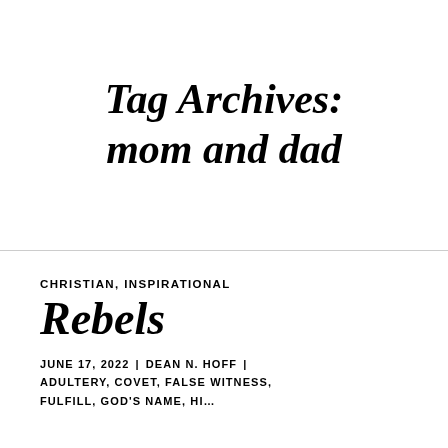Tag Archives: mom and dad
CHRISTIAN, INSPIRATIONAL
Rebels
JUNE 17, 2022 | DEAN N. HOFF | ADULTERY, COVET, FALSE WITNESS, FULFILL, GOD'S NAME, HI…